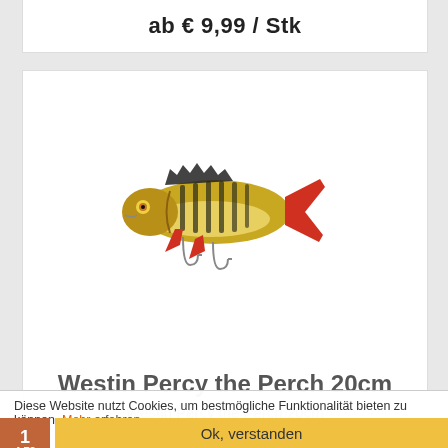ab € 9,99 / Stk
[Figure (photo): Westin Percy the Perch 20cm fishing lure - realistic perch fish design with hooks, yellow/green body with dark stripes and red tail fin]
Westin Percy the Perch 20cm
Westin Percy the Perch 20cm
ab € 21,99 / Stk
Diese Website nutzt Cookies, um bestmögliche Funktionalität bieten zu können. Mehr erfahren
1  2  ›  »
Ok, verstanden